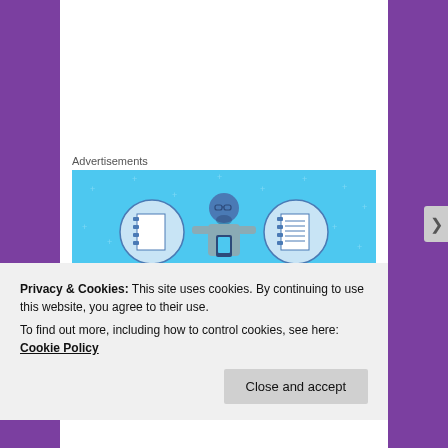Advertisements
[Figure (illustration): Day One journaling app advertisement on a light blue background showing a person holding a phone flanked by two circular icons of notebooks, with text 'DAY ONE' and 'The only journaling']
Privacy & Cookies: This site uses cookies. By continuing to use this website, you agree to their use.
To find out more, including how to control cookies, see here: Cookie Policy
Close and accept